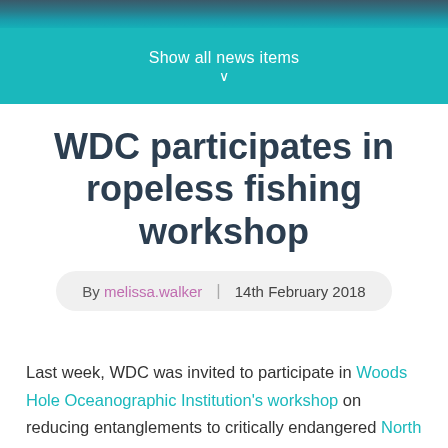[Figure (photo): Partial underwater/ocean photo at top of page]
Show all news items ∨
WDC participates in ropeless fishing workshop
By melissa.walker | 14th February 2018
Last week, WDC was invited to participate in Woods Hole Oceanographic Institution's workshop on reducing entanglements to critically endangered North Atlantic right whales. At this workshop, engineers introduced developing technology for removing rope-based...